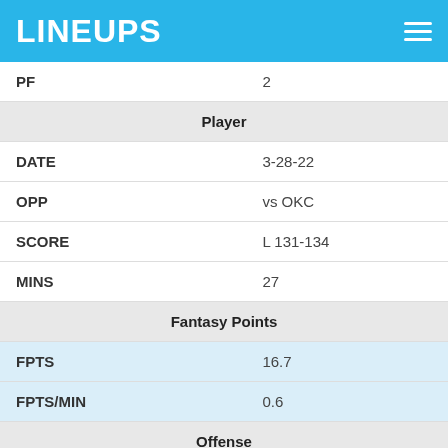LINEUPS
| PF | 2 |
| Player |  |
| DATE | 3-28-22 |
| OPP | vs OKC |
| SCORE | L 131-134 |
| MINS | 27 |
| Fantasy Points |  |
| FPTS | 16.7 |
| FPTS/MIN | 0.6 |
| Offense |  |
| PTS | 5 |
| AST | 3 |
| FGM | 2 |